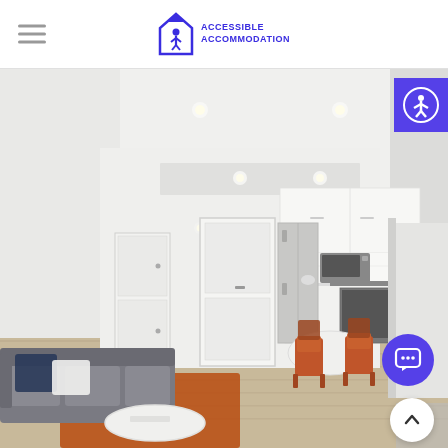[Figure (logo): Accessible Accommodation logo: purple house icon with person inside, text 'ACCESSIBLE ACCOMMODATION' in purple]
[Figure (photo): Interior photo of a modern open-plan apartment showing living room with grey sofa, orange rug, white coffee table, kitchen with stainless steel fridge, white cabinets, microwave, dining table with orange chairs on wood-look flooring, white walls and ceiling with recessed lighting]